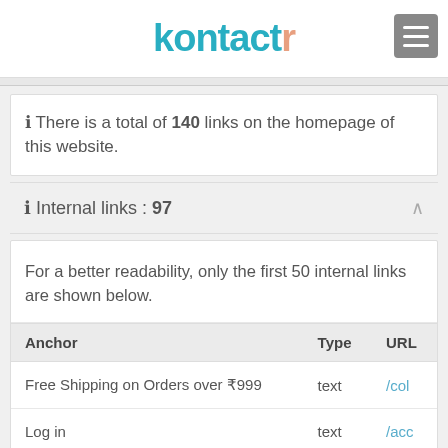kontactr
ℹ There is a total of 140 links on the homepage of this website.
ℹ Internal links : 97
For a better readability, only the first 50 internal links are shown below.
| Anchor | Type | URL |
| --- | --- | --- |
| Free Shipping on Orders over ₹999 | text | /col |
| Log in | text | /acc |